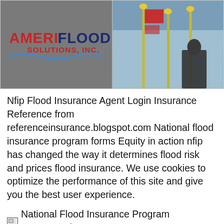[Figure (photo): Two side-by-side images: left shows AmeriFlood Solutions Inc. logo on gray background; right shows a photo of flag poles with flags and a person in dark clothing.]
Nfip Flood Insurance Agent Login Insurance Reference from referenceinsurance.blogspot.com National flood insurance program forms Equity in action nfip has changed the way it determines flood risk and prices flood insurance. We use cookies to optimize the performance of this site and give you the best user experience.
[Figure (photo): Broken image placeholder for National Flood Insurance Program Mountain CE]
National Flood Insurance Program Mountain CE